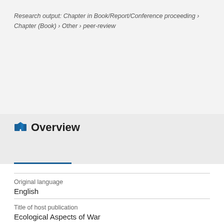Research output: Chapter in Book/Report/Conference proceeding › Chapter (Book) › Other › peer-review
Overview
Original language
English
Title of host publication
Ecological Aspects of War